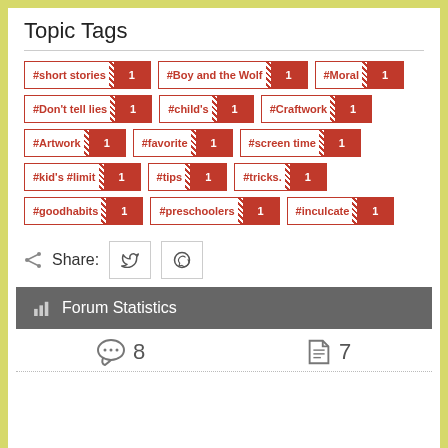Topic Tags
#short stories 1
#Boy and the Wolf 1
#Moral 1
#Don't tell lies 1
#child's 1
#Craftwork 1
#Artwork 1
#favorite 1
#screen time 1
#kid's #limit 1
#tips 1
#tricks. 1
#goodhabits 1
#preschoolers 1
#inculcate 1
Share:
Forum Statistics
8
7